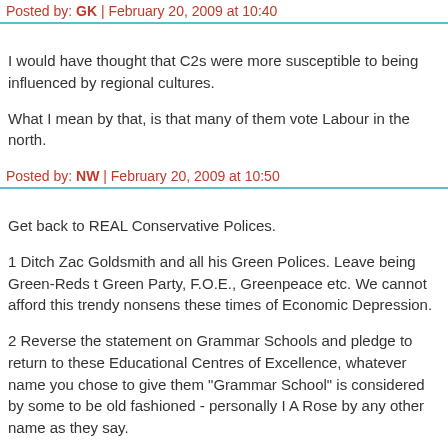Posted by: GK | February 20, 2009 at 10:40
I would have thought that C2s were more susceptible to being influenced by regional cultures.
What I mean by that, is that many of them vote Labour in the north.
Posted by: NW | February 20, 2009 at 10:50
Get back to REAL Conservative Polices.
1 Ditch Zac Goldsmith and all his Green Polices. Leave being Green-Reds to the Green Party, F.O.E., Greenpeace etc. We cannot afford this trendy nonsense in these times of Economic Depression.
2 Reverse the statement on Grammar Schools and pledge to return to these Educational Centres of Excellence, whatever name you chose to give them - "Grammar School" is considered by some to be old fashioned - personally I... A Rose by any other name as they say.
3 Robust policies on Law and Order, return to the concept of "Right " and "W... and of Dangerous and Violent Criminals being jailed both to protect the pub... removing them for a period of time and to punish them. Consider mandatory minimum sentences and abolish the "Concurrent" sentence where a crimina...